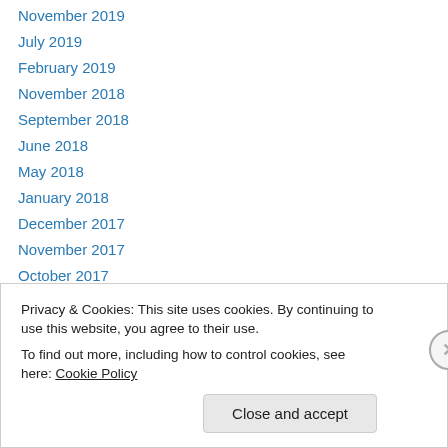November 2019
July 2019
February 2019
November 2018
September 2018
June 2018
May 2018
January 2018
December 2017
November 2017
October 2017
September 2017
July 2017
Privacy & Cookies: This site uses cookies. By continuing to use this website, you agree to their use.
To find out more, including how to control cookies, see here: Cookie Policy
Close and accept